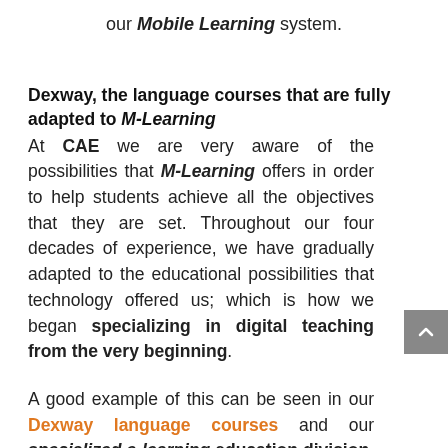our Mobile Learning system.
Dexway, the language courses that are fully adapted to M-Learning
At CAE we are very aware of the possibilities that M-Learning offers in order to help students achieve all the objectives that they are set. Throughout our four decades of experience, we have gradually adapted to the educational possibilities that technology offered us; which is how we began specializing in digital teaching from the very beginning.
A good example of this can be seen in our Dexway language courses and our specialized e-learning education division. It